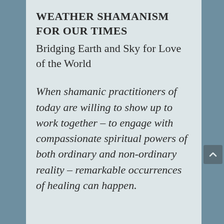WEATHER SHAMANISM FOR OUR TIMES
Bridging Earth and Sky for Love of the World
When shamanic practitioners of today are willing to show up to work together – to engage with compassionate spiritual powers of both ordinary and non-ordinary reality – remarkable occurrences of healing can happen.